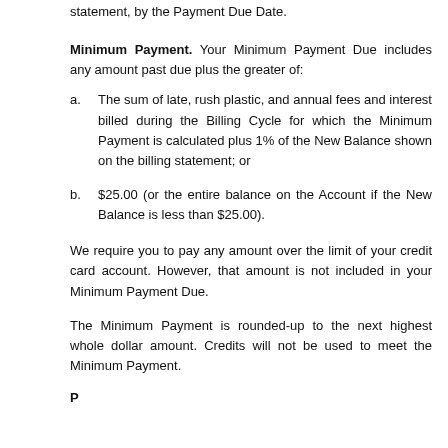statement, by the Payment Due Date.
Minimum Payment. Your Minimum Payment Due includes any amount past due plus the greater of:
a. The sum of late, rush plastic, and annual fees and interest billed during the Billing Cycle for which the Minimum Payment is calculated plus 1% of the New Balance shown on the billing statement; or
b. $25.00 (or the entire balance on the Account if the New Balance is less than $25.00).
We require you to pay any amount over the limit of your credit card account. However, that amount is not included in your Minimum Payment Due.
The Minimum Payment is rounded-up to the next highest whole dollar amount. Credits will not be used to meet the Minimum Payment.
Permissible Non-Billing Cycle charges and payments